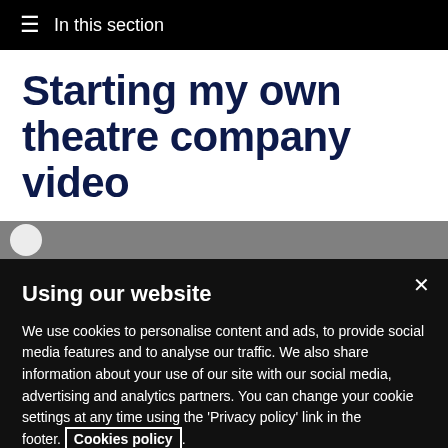≡ In this section
Starting my own theatre company video
[Figure (screenshot): Partial video thumbnail with play button circle on grey background]
Using our website
We use cookies to personalise content and ads, to provide social media features and to analyse our traffic. We also share information about your use of our site with our social media, advertising and analytics partners. You can change your cookie settings at any time using the 'Privacy policy' link in the footer. Cookies policy.
Cookies Settings